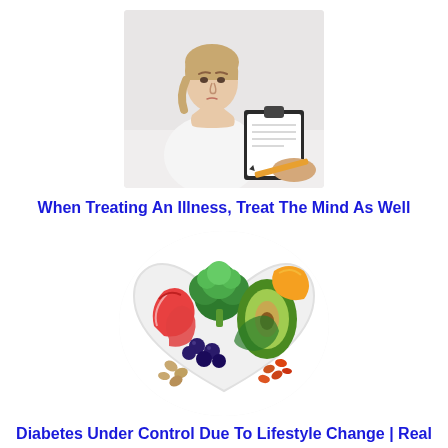[Figure (photo): Woman in white blouse sitting thoughtfully with chin resting on hands, while another person holds a pencil over a clipboard in foreground]
When Treating An Illness, Treat The Mind As Well
[Figure (photo): Heart-shaped plate filled with healthy foods including apple slices, broccoli, avocado, blueberries, lentils, and nuts on white background]
Diabetes Under Control Due To Lifestyle Change | Real Life Experience